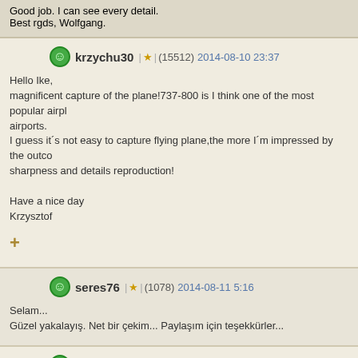Good job. I can see every detail.
Best rgds, Wolfgang.
krzychu30 | ★ | (15512) 2014-08-10 23:37
Hello Ike,
magnificent capture of the plane!737-800 is I think one of the most popular airpl airports.
I guess it´s not easy to capture flying plane,the more I´m impressed by the outco sharpness and details reproduction!

Have a nice day
Krzysztof
seres76 | ★ | (1078) 2014-08-11 5:16
Selam...
Güzel yakalayış. Net bir çekim... Paylaşım için teşekkürler...
PiotrF | ★ | (56210) 2014-08-11 13:43
Hello Ike,